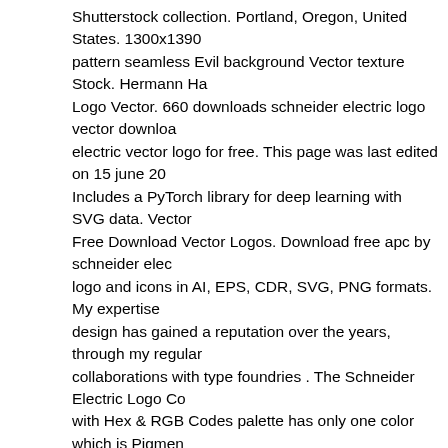Shutterstock collection. Portland, Oregon, United States. 1300x1390 pattern seamless Evil background Vector texture Stock. Hermann Ha Logo Vector. 660 downloads schneider electric logo vector downloa electric vector logo for free. This page was last edited on 15 june 20 Includes a PyTorch library for deep learning with SVG data. Vector Free Download Vector Logos. Download free apc by schneider elec logo and icons in AI, EPS, CDR, SVG, PNG formats. My expertise design has gained a reputation over the years, through my regular collaborations with type foundries . The Schneider Electric Logo Co with Hex & RGB Codes palette has only one color which is Pigmen (#009E4D).. FreiWerk Hotel & Restaurant Logo Vector. The most comprehensive image search on the web. Hermann Hartje KG Logo File Format: png. - GitHub - alexandre01/deepsvg: [NeurIPS 2020] code for the paper "DeepSVG: A Hierarchical Generative Network f Graphics Animation". Includes a PyTorch library for deep learning w data. RTL interactive GmbH Logo Vector . Please do not use brand l any purpose except to represent that particular brand or service. RTL GmbH Logo Vector . The famous persons cut files in the world, for machines. Download free Schneider Electric Logo vector logo and i EPS, CDR, SVG, PNG formats. Download free Schneider Electric v and icons in AI, EPS, CDR, SVG, PNG formats. SEM SCHNEI